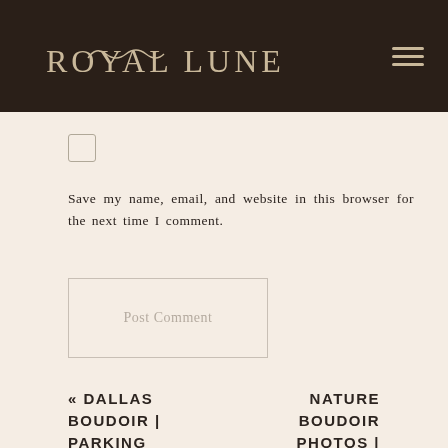ROYAL LUNE
Save my name, email, and website in this browser for the next time I comment.
[Figure (screenshot): Post Comment button — a rectangular button with border and placeholder text 'Post Comment']
« DALLAS BOUDOIR | PARKING GARAGE
NATURE BOUDOIR PHOTOS | ETHEREAL